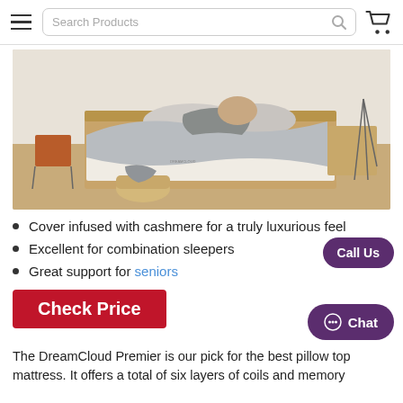Search Products
[Figure (photo): A person lying on a DreamCloud Premier mattress in a styled bedroom with light gray bedding, wooden furniture, herringbone floor, and a wicker basket on the floor.]
Cover infused with cashmere for a truly luxurious feel
Excellent for combination sleepers
Great support for seniors
Check Price
The DreamCloud Premier is our pick for the best pillow top mattress. It offers a total of six layers of coils and memory